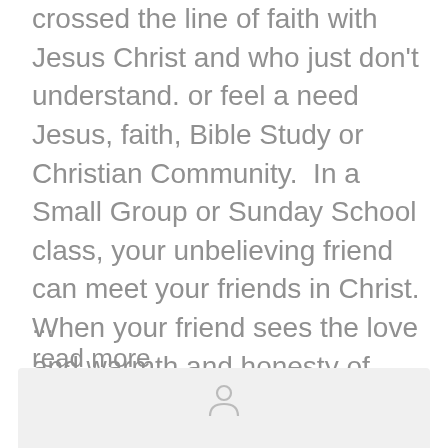crossed the line of faith with Jesus Christ and who just don't understand. or feel a need Jesus, faith, Bible Study or Christian Community.  In a Small Group or Sunday School class, your unbelieving friend can meet your friends in Christ. When your friend sees the love and warmth and honesty of your cl
...
read more
[Figure (other): Bottom bar with a profile/person icon, light gray background]